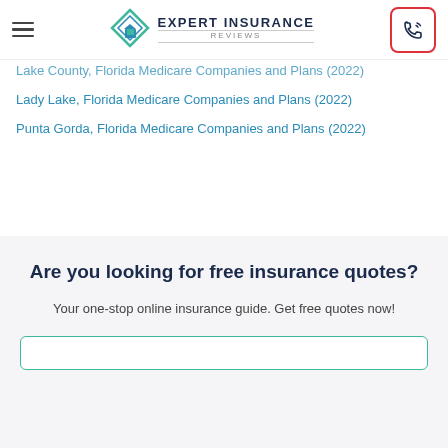Expert Insurance Reviews
Lake County, Florida Medicare Companies and Plans (2022)
Lady Lake, Florida Medicare Companies and Plans (2022)
Punta Gorda, Florida Medicare Companies and Plans (2022)
Are you looking for free insurance quotes?
Your one-stop online insurance guide. Get free quotes now!